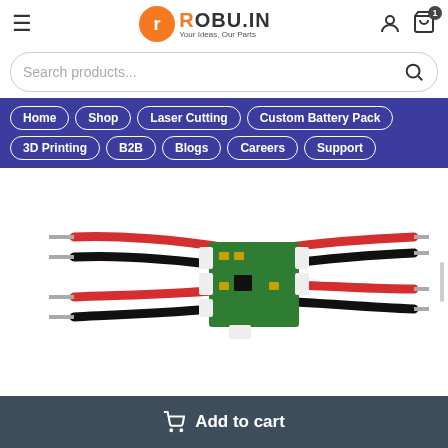[Figure (logo): ROBU.IN logo with orange R in circle and tagline 'Your Ideas, Our Parts']
Search products...
Home
Shop
Laser Cutting
Custom Battery Pack
3D Printing
B2B
Blogs
Careers
Support
[Figure (photo): A small green PCB circuit board with white connectors, connected to red and black wires on both sides, photographed on a white background]
Add to cart